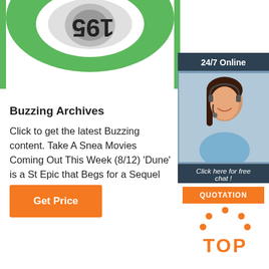[Figure (photo): Product image showing a green and white circular object with '195' and a button cell battery visible, cropped at top of page]
[Figure (infographic): Advertisement box with dark blue/slate background showing '24/7 Online', a woman wearing headset, 'Click here for free chat!' text, and orange QUOTATION button]
Buzzing Archives
Click to get the latest Buzzing content. Take A Sneak Movies Coming Out This Week (8/12) 'Dune' is a St Epic that Begs for a Sequel
[Figure (other): Orange Get Price button]
[Figure (logo): Orange TOP logo with dot pattern above the letters]